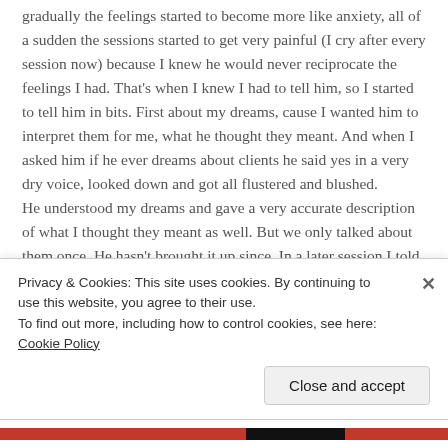gradually the feelings started to become more like anxiety, all of a sudden the sessions started to get very painful (I cry after every session now) because I knew he would never reciprocate the feelings I had. That’s when I knew I had to tell him, so I started to tell him in bits. First about my dreams, cause I wanted him to interpret them for me, what he thought they meant. And when I asked him if he ever dreams about clients he said yes in a very dry voice, looked down and got all flustered and blushed.
He understood my dreams and gave a very accurate description of what I thought they meant as well. But we only talked about them once. He hasn’t brought it up since. In a later session I told him that I’m having transference feelings that I find hard to understand. He said, very friendly that I
Privacy & Cookies: This site uses cookies. By continuing to use this website, you agree to their use.
To find out more, including how to control cookies, see here: Cookie Policy
Close and accept